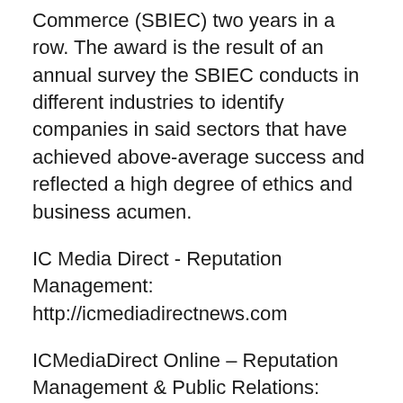Commerce (SBIEC) two years in a row. The award is the result of an annual survey the SBIEC conducts in different industries to identify companies in said sectors that have achieved above-average success and reflected a high degree of ethics and business acumen.
IC Media Direct - Reputation Management: http://icmediadirectnews.com
ICMediaDirect Online – Reputation Management & Public Relations: http://icmediadirectonline.com
ICMediaDirect – Reviews & Reputation Services: http://icmediadirectreviewsreputation.com
Contact Info: